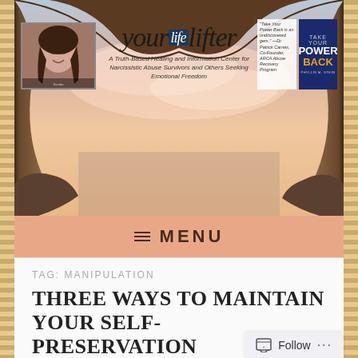[Figure (screenshot): YourLifeLifter website header banner with cave arch sky background, profile photo of woman, logo text 'yourlifelifter', tagline 'A Truth-Based Healing and Information Center for Narcissistic Abuse Survivors and Others Seeking Emotional Freedom', book advertisement 'Take Your Power Back']
≡ MENU
TAG: MANIPULATION
THREE WAYS TO MAINTAIN YOUR SELF-PRESERVATION WHEN DEALING WITH A